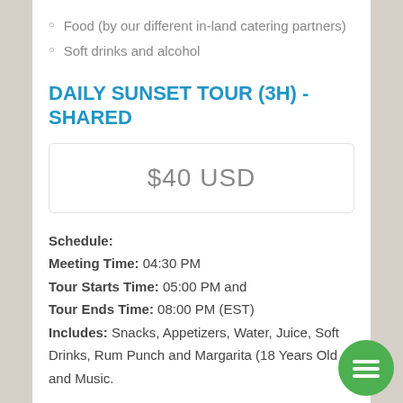Food (by our different in-land catering partners)
Soft drinks and alcohol
DAILY SUNSET TOUR (3H) - SHARED
$40 USD
Schedule:
Meeting Time: 04:30 PM
Tour Starts Time: 05:00 PM and
Tour Ends Time: 08:00 PM (EST)
Includes: Snacks, Appetizers, Water, Juice, Soft Drinks, Rum Punch and Margarita (18 Years Old +) and Music.